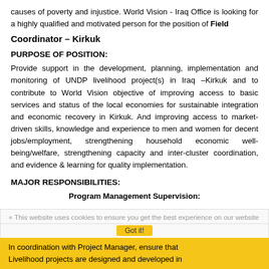causes of poverty and injustice. World Vision - Iraq Office is looking for a highly qualified and motivated person for the position of Field
Coordinator – Kirkuk
PURPOSE OF POSITION:
Provide support in the development, planning, implementation and monitoring of UNDP livelihood project(s) in Iraq –Kirkuk and to contribute to World Vision objective of improving access to basic services and status of the local economies for sustainable integration and economic recovery in Kirkuk. And improving access to market-driven skills, knowledge and experience to men and women for decent jobs/employment, strengthening household economic well-being/welfare, strengthening capacity and inter-cluster coordination, and evidence & learning for quality implementation.
MAJOR RESPONSIBILITIES:
Program Management Supervision:
This website uses cookies to ensure you get the best experience on our website
In coordination with Project Manager, ensure that Livelihood projects are designed and developed in alignment with WVIs Strategy, Sphere standards, PM7